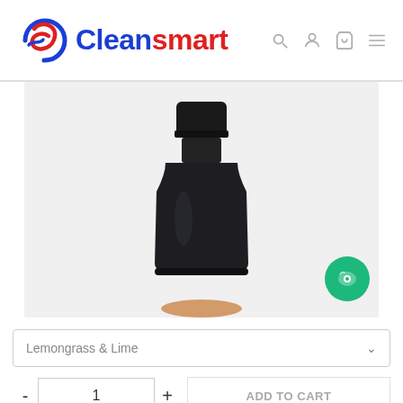[Figure (logo): Cleansmart logo with circular red and blue swoosh icon, 'Clean' in blue bold text and 'smart' in red bold text]
[Figure (photo): Dark amber/black bottle with black screw cap on a light grey background, showing only the top half of the bottle]
Lemongrass & Lime
- 1 + ADD TO CART